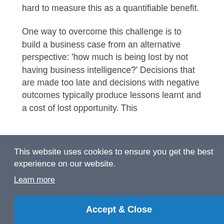hard to measure this as a quantifiable benefit.
One way to overcome this challenge is to build a business case from an alternative perspective: 'how much is being lost by not having business intelligence?' Decisions that are made too late and decisions with negative outcomes typically produce lessons learnt and a cost of lost opportunity. This
This website uses cookies to ensure you get the best experience on our website.
Learn more
Accept & Close
outweighs the cost of implementation, then